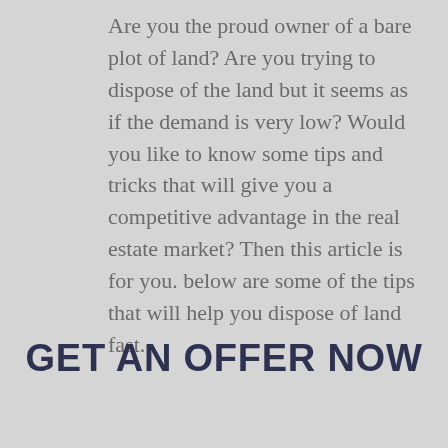Are you the proud owner of a bare plot of land? Are you trying to dispose of the land but it seems as if the demand is very low? Would you like to know some tips and tricks that will give you a competitive advantage in the real estate market? Then this article is for you. below are some of the tips that will help you dispose of land fast.
GET AN OFFER NOW